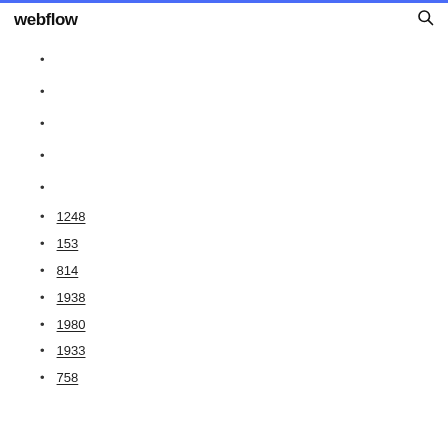webflow
1248
153
814
1938
1980
1933
758